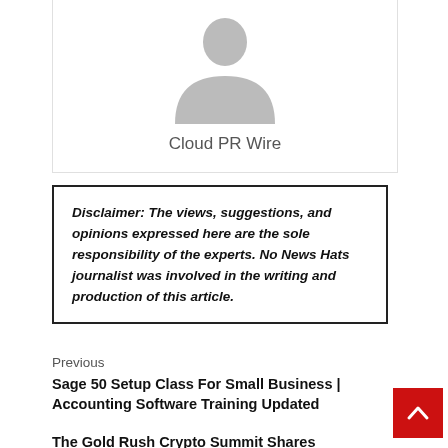[Figure (illustration): Gray silhouette avatar/profile placeholder image of a person]
Cloud PR Wire
Disclaimer: The views, suggestions, and opinions expressed here are the sole responsibility of the experts. No News Hats journalist was involved in the writing and production of this article.
Previous
Sage 50 Setup Class For Small Business | Accounting Software Training Updated
The Gold Rush Crypto Summit Shares Essential Crypto